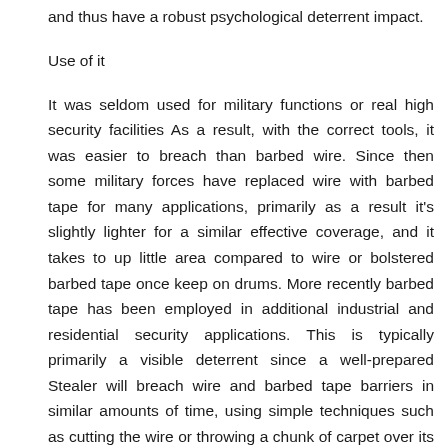and thus have a robust psychological deterrent impact.
Use of it
It was seldom used for military functions or real high security facilities As a result, with the correct tools, it was easier to breach than barbed wire. Since then some military forces have replaced wire with barbed tape for many applications, primarily as a result it's slightly lighter for a similar effective coverage, and it takes to up little area compared to wire or bolstered barbed tape once keep on drums. More recently barbed tape has been employed in additional industrial and residential security applications. This is typically primarily a visible deterrent since a well-prepared Stealer will breach wire and barbed tape barriers in similar amounts of time, using simple techniques such as cutting the wire or throwing a chunk of carpet over its strands.